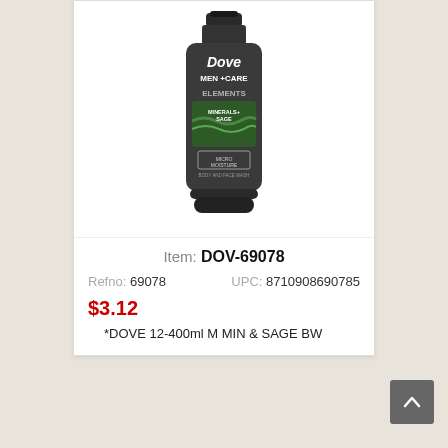[Figure (photo): Dove Men+Care Elements Minerals+Sage Body and Face Wash bottle, dark grey/charcoal colored bottle with green label area]
Item: DOV-69078
Refno: 69078   UPC: 8710908690785
$3.12
*DOVE 12-400ml M MIN & SAGE BW